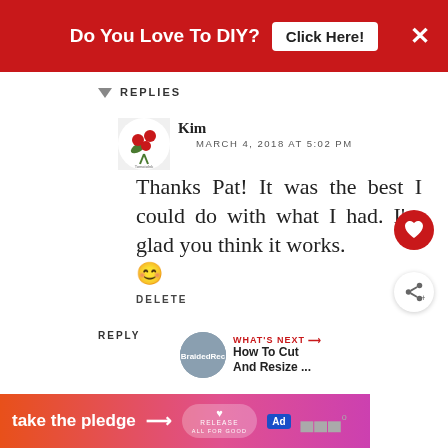[Figure (other): Red banner advertisement: 'Do You Love To DIY? Click Here!' with close X button]
REPLIES
[Figure (logo): Blogger avatar with floral/cherry design logo for Kim]
Kim
MARCH 4, 2018 AT 5:02 PM
Thanks Pat! It was the best I could do with what I had. I'm glad you think it works. 😊
DELETE
REPLY
[Figure (other): What's Next promo: thumbnail image with 'How To Cut And Resize ...' text]
[Figure (other): Bottom advertisement banner: 'take the pledge' with Release and Ad badges]